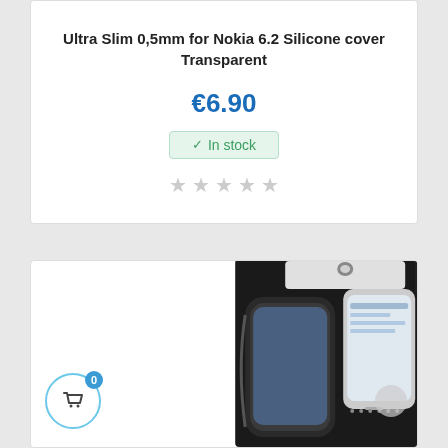Ultra Slim 0,5mm for Nokia 6.2 Silicone cover Transparent
€6.90
✓ In stock
★★★★★
[Figure (photo): Product packaging for a screen protector showing two smartphones (one with curved edges, one regular) on black packaging labeled NEW, with feature icons on the right side.]